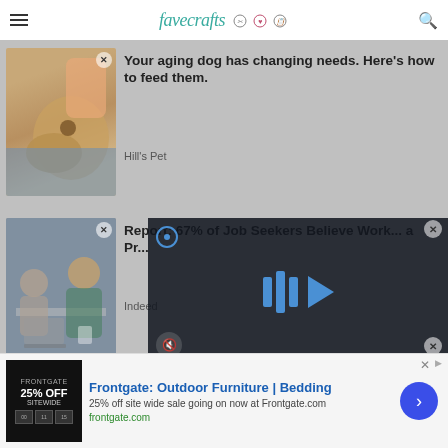favecrafts
[Figure (screenshot): Thumbnail image of a dog (likely a Labrador) resting its head on a person's lap]
Your aging dog has changing needs. Here's how to feed them.
Hill's Pet
[Figure (screenshot): Thumbnail image of people at a work meeting with laptops]
Report: 67% of Job Seekers Believe Work... a Pr...
Indeed
[Figure (screenshot): Video overlay showing a dark background with blue play bars and arrow, a record icon, and mute button]
[Figure (screenshot): Partial thumbnail of orange/amber lamp and pink background]
[Figure (screenshot): Advertisement banner for Frontgate: Outdoor Furniture | Bedding - 25% off site wide sale at Frontgate.com]